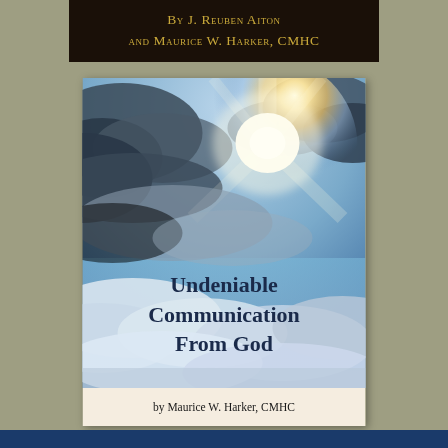By J. Reuben Aiton and Maurice W. Harker, CMHC
[Figure (illustration): Book cover showing a sky scene with dramatic sunlight breaking through clouds. The title 'Undeniable Communication From God' is overlaid on the lower portion of the sky image. A cream-colored bottom strip displays the author name.]
by Maurice W. Harker, CMHC